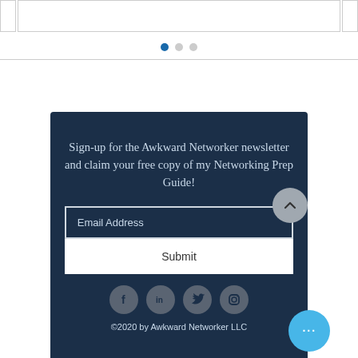[Figure (screenshot): Top section with three border boxes (carousel placeholders) and three pagination dots below, followed by a horizontal rule]
Sign-up for the Awkward Networker newsletter and claim your free copy of my Networking Prep Guide!
Email Address
Submit
[Figure (infographic): Row of four social media icons: Facebook, LinkedIn, Twitter, Instagram]
©2020 by Awkward Networker LLC